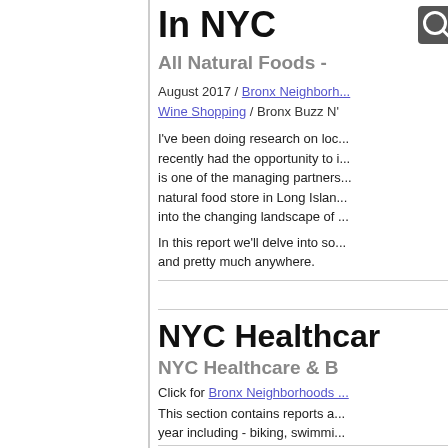In NYC
All Natural Foods -
August 2017 / Bronx Neighborhoods Wine Shopping / Bronx Buzz NY
I've been doing research on local... recently had the opportunity to i... is one of the managing partners... natural food store in Long Island... into the changing landscape of ...
In this report we'll delve into some... and pretty much anywhere.
NYC Healthcar...
NYC Healthcare & B...
Click for Bronx Neighborhoods...
This section contains reports a... year including - biking, swimmi...